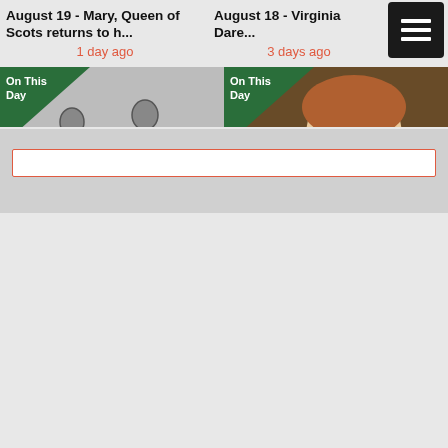August 19 - Mary, Queen of Scots returns to h...
1 day ago
August 18 - Virginia Dare...
3 days ago
[Figure (illustration): Black and white illustration of skeletons dancing, with On This Day badge in top left corner]
[Figure (illustration): Portrait painting of a noble woman with elaborate ruff collar, with On This Day badge in top left corner]
August 17 - Sweating sickness kills a royal s...
4 days ago
August 16 - The Norris family lose another tw...
5 days ago